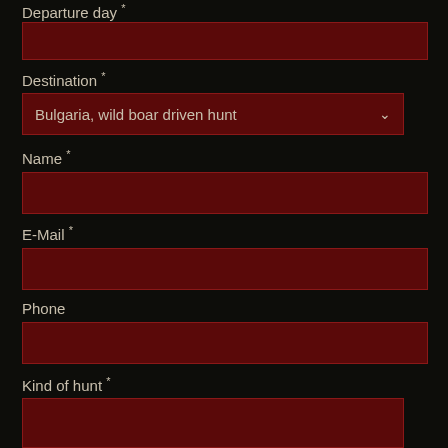Departure day *
Destination *
Bulgaria, wild boar driven hunt
Name *
E-Mail *
Phone
Kind of hunt *